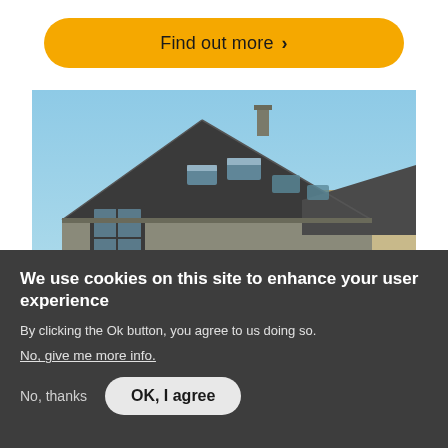[Figure (other): Yellow rounded button with text 'Find out more >' on a white background]
[Figure (photo): Photograph of a stone house with dark slate roof and skylights, blue sky background]
We use cookies on this site to enhance your user experience
By clicking the Ok button, you agree to us doing so.
No, give me more info.
No, thanks
OK, I agree